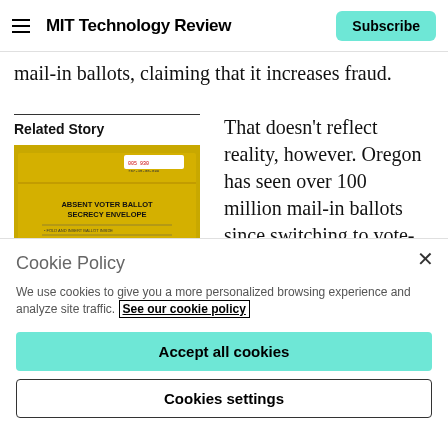MIT Technology Review | Subscribe
mail-in ballots, claiming that it increases fraud.
Related Story
[Figure (photo): A yellow absent voter ballot secrecy envelope]
That doesn't reflect reality, however. Oregon has seen over 100 million mail-in ballots since switching to vote-by-mail in
Cookie Policy
We use cookies to give you a more personalized browsing experience and analyze site traffic. See our cookie policy
Accept all cookies
Cookies settings